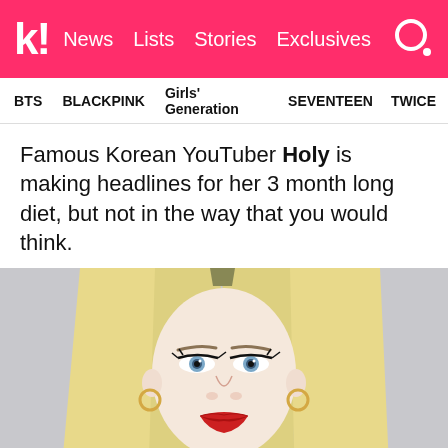k! News Lists Stories Exclusives
BTS  BLACKPINK  Girls' Generation  SEVENTEEN  TWICE
Famous Korean YouTuber Holy is making headlines for her 3 month long diet, but not in the way that you would think.
[Figure (photo): Portrait photo of a Korean woman with long straight blonde hair, blue contact lenses, dramatic eye makeup, red lips, and hoop earrings, against a light gray background.]